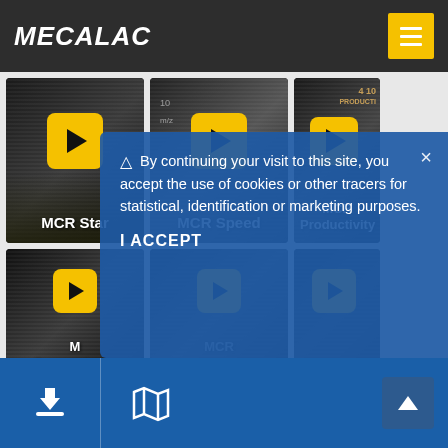[Figure (screenshot): Mecalac website screenshot showing video thumbnails for MCR Star, MCR Speed, MCR Productivity, MCR Compactness, and a cookie consent overlay with 'I ACCEPT' button. Header has Mecalac logo and yellow menu button. Footer has download and map icons.]
By continuing your visit to this site, you accept the use of cookies or other tracers for statistical, identification or marketing purposes.
I ACCEPT